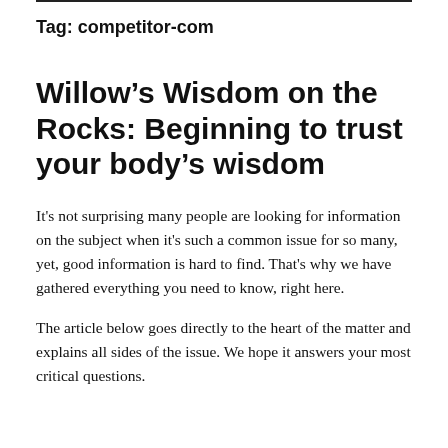Tag: competitor-com
Willow’s Wisdom on the Rocks: Beginning to trust your body’s wisdom
It's not surprising many people are looking for information on the subject when it's such a common issue for so many, yet, good information is hard to find. That's why we have gathered everything you need to know, right here.
The article below goes directly to the heart of the matter and explains all sides of the issue. We hope it answers your most critical questions.